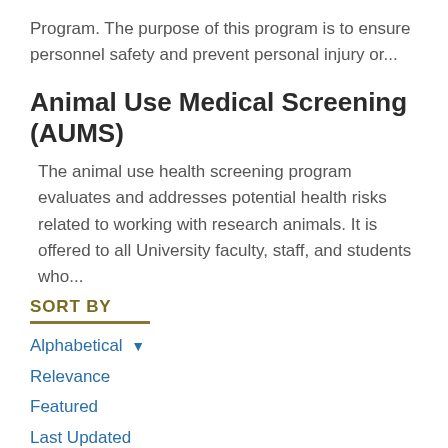Program. The purpose of this program is to ensure personnel safety and prevent personal injury or...
Animal Use Medical Screening (AUMS)
The animal use health screening program evaluates and addresses potential health risks related to working with research animals. It is offered to all University faculty, staff, and students who...
SORT BY
Alphabetical
Relevance
Featured
Last Updated